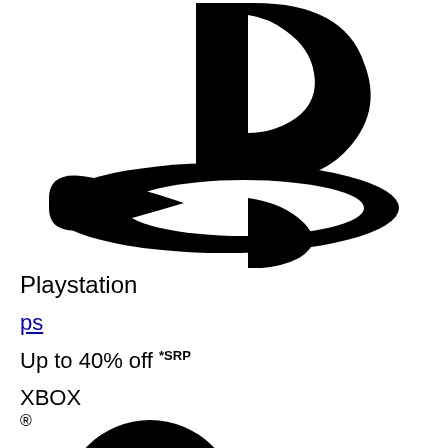[Figure (logo): PlayStation logo — large black stylized 'PS' mark, the iconic PlayStation brand symbol, cropped showing the upper portion of the logo]
Playstation
ps
Up to 40% off *SRP
XBOX ®
[Figure (logo): Xbox logo — partially visible black circular Xbox brand symbol at the very bottom of the page]